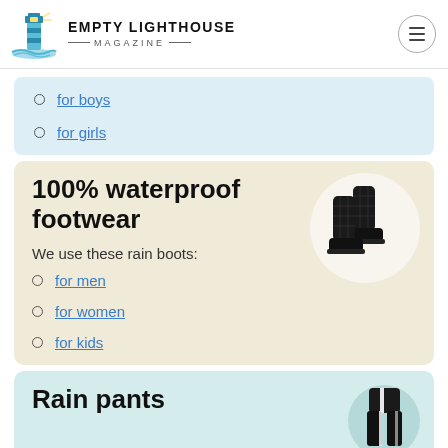EMPTY LIGHTHOUSE MAGAZINE
for boys
for girls
100% waterproof footwear
We use these rain boots:
for men
for women
for kids
[Figure (photo): Black quilted rain boots]
Rain pants
[Figure (photo): Person wearing rain pants]